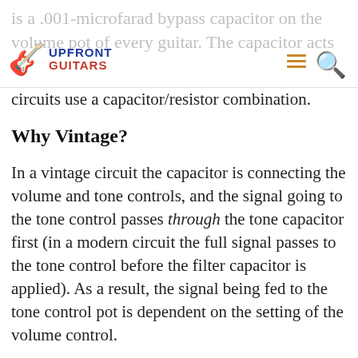Upfront Guitars
is a .001-microfarad bypass capacitor on the volume pot of every guitar. The capacitor acts as a high pass filter, and some treble bleed circuits use a capacitor/resistor combination.
Why Vintage?
In a vintage circuit the capacitor is connecting the volume and tone controls, and the signal going to the tone control passes through the tone capacitor first (in a modern circuit the full signal passes to the tone control before the filter capacitor is applied). As a result, the signal being fed to the tone control pot is dependent on the setting of the volume control.
The characteristic of vintage wiring is that there tends to be less high-end attenuation as the volume is turned down. Even without a